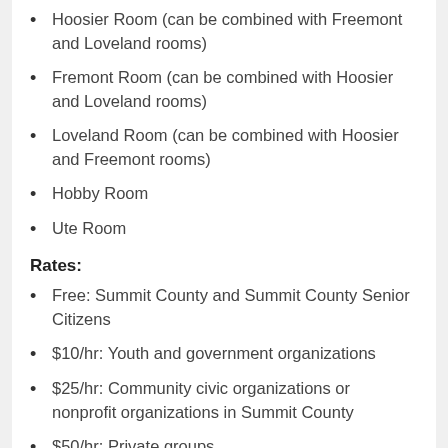Hoosier Room (can be combined with Freemont and Loveland rooms)
Fremont Room (can be combined with Hoosier and Loveland rooms)
Loveland Room (can be combined with Hoosier and Freemont rooms)
Hobby Room
Ute Room
Rates:
Free: Summit County and Summit County Senior Citizens
$10/hr: Youth and government organizations
$25/hr: Community civic organizations or nonprofit organizations in Summit County
$50/hr: Private groups
To make a reservation for a single event or meeting or for recurring meetings, or for any questions related to reservations, call 970-668-4311